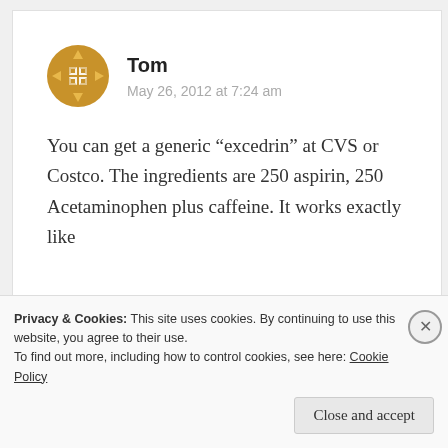[Figure (logo): Golden/amber colored decorative circular avatar icon with geometric quilt-like pattern of arrows and squares]
Tom
May 26, 2012 at 7:24 am
You can get a generic “excedrin” at CVS or Costco. The ingredients are 250 aspirin, 250 Acetaminophen plus caffeine. It works exactly like Excedrin...
Privacy & Cookies: This site uses cookies. By continuing to use this website, you agree to their use.
To find out more, including how to control cookies, see here: Cookie Policy
Close and accept